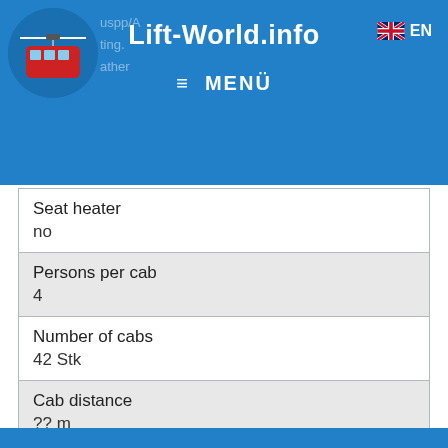Lift-World.info | ≡ MENÜ | EN
| Seat heater | no |
| Persons per cab | 4 |
| Number of cabs | 42 Stk |
| Cab distance | ?? m |
| Cab interval | ?? s |